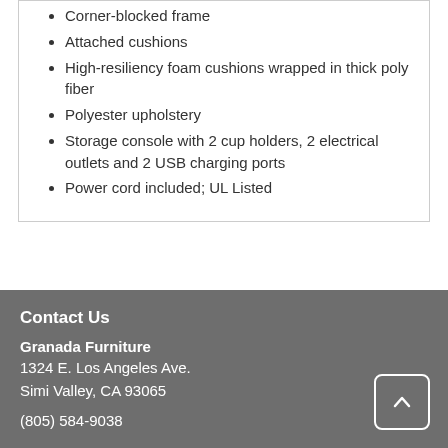Corner-blocked frame
Attached cushions
High-resiliency foam cushions wrapped in thick poly fiber
Polyester upholstery
Storage console with 2 cup holders, 2 electrical outlets and 2 USB charging ports
Power cord included; UL Listed
Contact Us
Granada Furniture
1324 E. Los Angeles Ave.
Simi Valley, CA 93065
(805) 584-9038